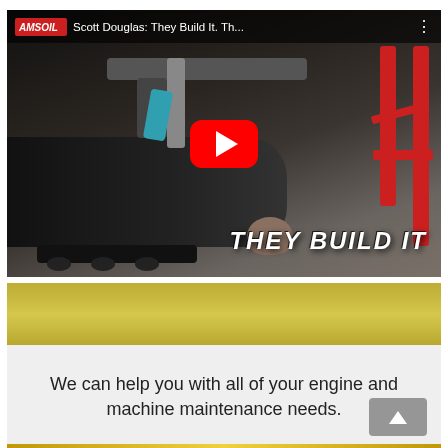[Figure (screenshot): YouTube video thumbnail showing an AMSOIL-branded video titled 'Scott Douglas: They Build It. Th...' with a mechanic lying under a car on a creeper, under-car chassis and red lift visible. A large red YouTube play button is centered. Bold italic white text 'THEY BUILD IT' appears at the bottom right. AMSOIL logo and video title visible in top bar.]
[Figure (illustration): Gold/olive-colored horizontal gradient banner strip below the video.]
We can help you with all of your engine and machine maintenance needs.